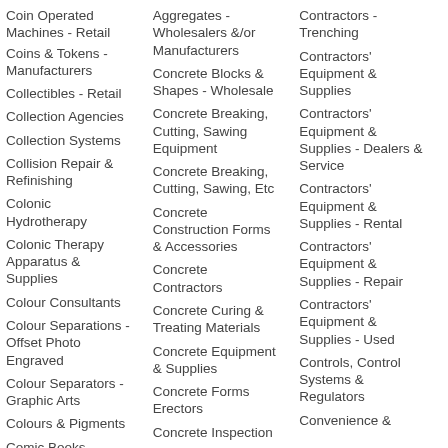Coin Operated Machines - Retail
Coins & Tokens - Manufacturers
Collectibles - Retail
Collection Agencies
Collection Systems
Collision Repair & Refinishing
Colonic Hydrotherapy
Colonic Therapy Apparatus & Supplies
Colour Consultants
Colour Separations - Offset Photo Engraved
Colour Separators - Graphic Arts
Colours & Pigments
Comic Books
Aggregates - Wholesalers &/or Manufacturers
Concrete Blocks & Shapes - Wholesale
Concrete Breaking, Cutting, Sawing Equipment
Concrete Breaking, Cutting, Sawing, Etc
Concrete Construction Forms & Accessories
Concrete Contractors
Concrete Curing & Treating Materials
Concrete Equipment & Supplies
Concrete Forms Erectors
Concrete Inspection
Contractors - Trenching
Contractors' Equipment & Supplies
Contractors' Equipment & Supplies - Dealers & Service
Contractors' Equipment & Supplies - Rental
Contractors' Equipment & Supplies - Repair
Contractors' Equipment & Supplies - Used
Controls, Control Systems & Regulators
Convenience &